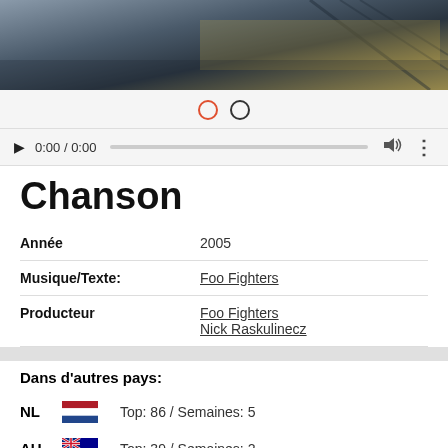[Figure (photo): Top portion of a photograph showing an outdoor scene with muted blue, grey and golden tones]
[Figure (screenshot): Media player controls: carousel dots (red circle and black circle), play button, time 0:00 / 0:00, progress bar, volume icon, more icon]
Chanson
| Année | 2005 |
| Musique/Texte: | Foo Fighters |
| Producteur | Foo Fighters
Nick Raskulinecz |
Dans d'autres pays:
NL Top: 86 / Semaines: 5
AU Top: 39 / Semaines: 2
NZ Top: 34 / Semaines: 8